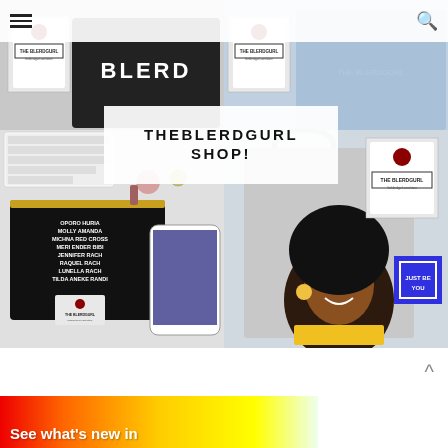Navigation bar with hamburger menu and search icon
[Figure (photo): Collage of four product photos from TheBlerdGurl Shop showing t-shirts, cosmetic bags, accessories, and a tote bag with an illustrated character]
THEBLERDGURL SHOP!
[Figure (photo): Colorful gradient banner (red to yellow) with text 'See what's new in']